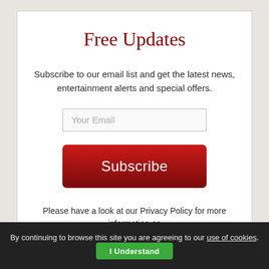Free Updates
Subscribe to our email list and get the latest news, entertainment alerts and special offers.
Please have a look at our Privacy Policy for more information on how we use your personal data.
By continuing to browse this site you are agreeing to our use of cookies.